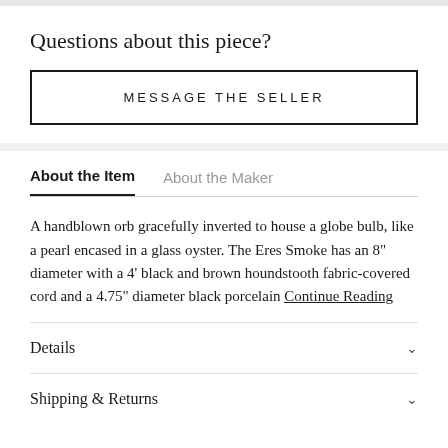Questions about this piece?
MESSAGE THE SELLER
About the Item
About the Maker
A handblown orb gracefully inverted to house a globe bulb, like a pearl encased in a glass oyster. The Eres Smoke has an 8" diameter with a 4' black and brown houndstooth fabric-covered cord and a 4.75" diameter black porcelain Continue Reading
Details
Shipping & Returns